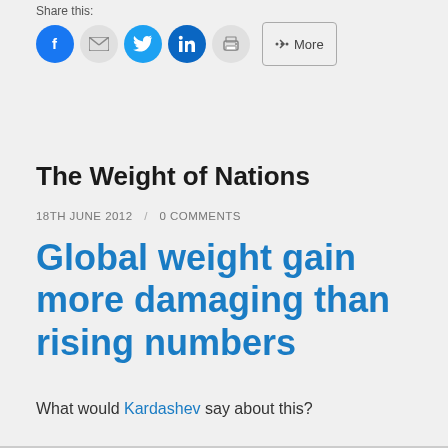Share this:
[Figure (other): Social sharing buttons: Facebook, Email, Twitter, LinkedIn, Print, and More]
The Weight of Nations
18TH JUNE 2012 / 0 COMMENTS
Global weight gain more damaging than rising numbers
What would Kardashev say about this?